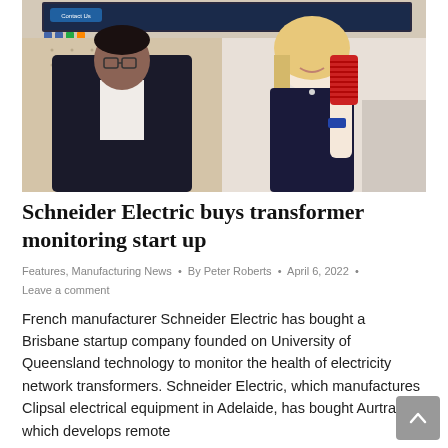[Figure (photo): Two people standing indoors. A man in a dark suit on the left, a blonde woman on the right holding a red cylindrical device. Background shows a screen and office/meeting room setting.]
Schneider Electric buys transformer monitoring start up
Features, Manufacturing News • By Peter Roberts • April 6, 2022 •
Leave a comment
French manufacturer Schneider Electric has bought a Brisbane startup company founded on University of Queensland technology to monitor the health of electricity network transformers. Schneider Electric, which manufactures Clipsal electrical equipment in Adelaide, has bought Aurtra which develops remote